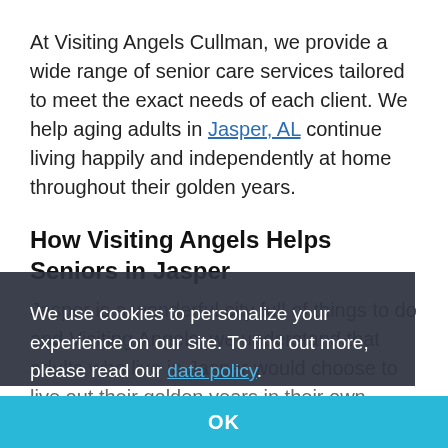At Visiting Angels Cullman, we provide a wide range of senior care services tailored to meet the exact needs of each client. We help aging adults in Jasper, AL continue living happily and independently at home throughout their golden years.
How Visiting Angels Helps Seniors in Jasper
Jasper is a wonderful city full of things to do and Visiting Angels, we understand that adults who live in Jasper would choose to live out their golden years in their own home instead of relocating to a nursing home. We can help your loved one age gracefully in their own home with quality in
We use cookies to personalize your experience on our site. To find out more, please read our data policy.
OK